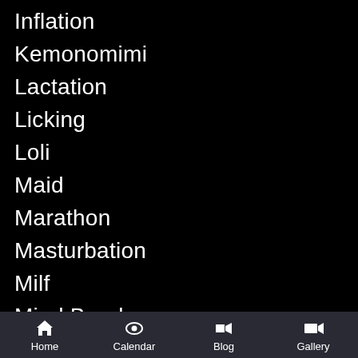Inflation
Kemonomimi
Lactation
Licking
Loli
Maid
Marathon
Masturbation
Milf
Mind Break
Mind Control
Monster
Netorare
Nurse
Office
Orgy
Home  Calendar  Blog  Gallery